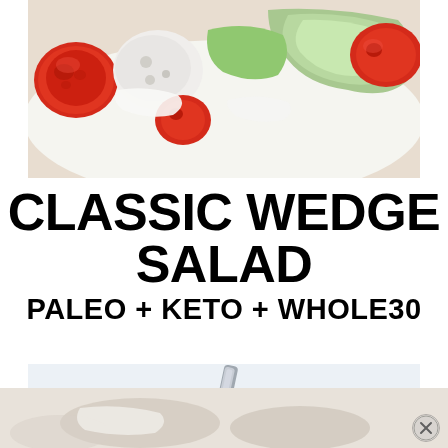[Figure (photo): Wedge salad with tomatoes, blue cheese crumbles, and white dressing on a white plate, viewed from above]
CLASSIC WEDGE SALAD
PALEO + KETO + WHOLE30
[Figure (photo): Close-up of a fork holding a piece of wedge salad with creamy dressing dripping down]
[Figure (photo): Bottom partial view of wedge salad with dressing, partially cut off]